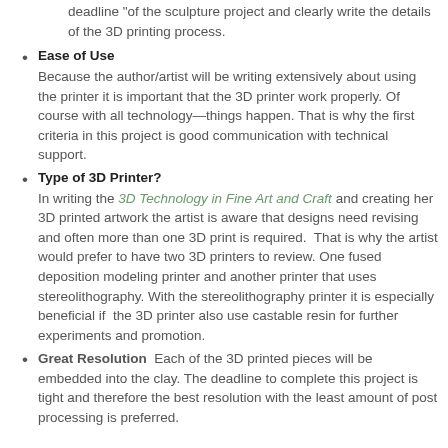deadline “of the sculpture project and clearly write the details of the 3D printing process.
Ease of Use
Because the author/artist will be writing extensively about using the printer it is important that the 3D printer work properly. Of course with all technology—things happen. That is why the first criteria in this project is good communication with technical support.
Type of 3D Printer?
In writing the 3D Technology in Fine Art and Craft and creating her 3D printed artwork the artist is aware that designs need revising and often more than one 3D print is required. That is why the artist would prefer to have two 3D printers to review. One fused deposition modeling printer and another printer that uses stereolithography. With the stereolithography printer it is especially beneficial if the 3D printer also use castable resin for further experiments and promotion.
Great Resolution Each of the 3D printed pieces will be embedded into the clay. The deadline to complete this project is tight and therefore the best resolution with the least amount of post processing is preferred.